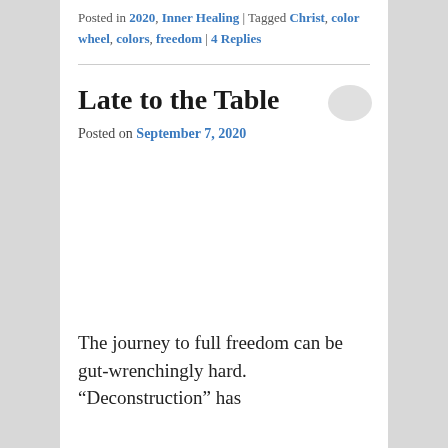Posted in 2020, Inner Healing | Tagged Christ, color wheel, colors, freedom | 4 Replies
Late to the Table
Posted on September 7, 2020
The journey to full freedom can be gut-wrenchingly hard. “Deconstruction” has